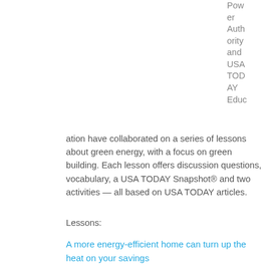Power Authority and USA TODAY Education have collaborated on a series of lessons about green energy, with a focus on green building. Each lesson offers discussion questions, vocabulary, a USA TODAY Snapshot® and two activities — all based on USA TODAY articles.
Lessons:
A more energy-efficient home can turn up the heat on your savings